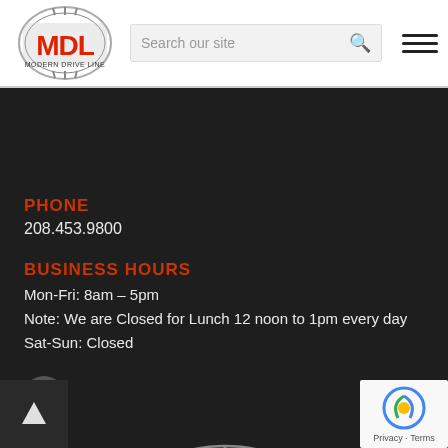[Figure (logo): MDL Modern Drive Line logo — circular gear emblem with red MDL lettering]
Search our site
[Figure (other): Hamburger menu icon (three horizontal lines)]
PHONE
208.453.9800
BUSINESS HOURS
Mon-Fri: 8am – 5pm
Note: We are Closed for Lunch 12 noon to 1pm every day
Sat-Sun: Closed
[Figure (other): Facebook circular icon button]
[Figure (logo): MDL Modern Drive Line logo — large version at bottom of page]
[Figure (other): Back to top arrow button]
[Figure (other): reCAPTCHA badge with Privacy and Terms text]